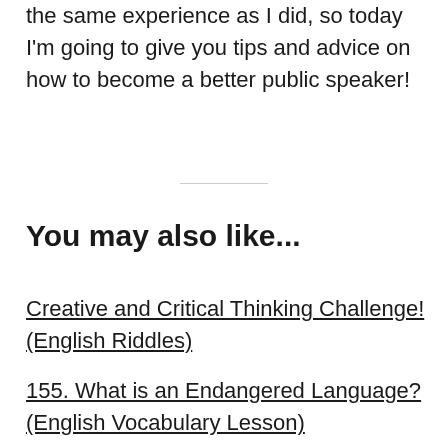the same experience as I did, so today I'm going to give you tips and advice on how to become a better public speaker!
You may also like...
Creative and Critical Thinking Challenge! (English Riddles)
155. What is an Endangered Language? (English Vocabulary Lesson)